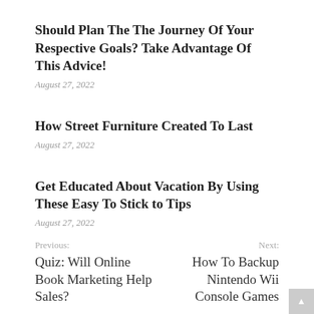Should Plan The The Journey Of Your Respective Goals? Take Advantage Of This Advice!
August 27, 2022
How Street Furniture Created To Last
August 27, 2022
Get Educated About Vacation By Using These Easy To Stick to Tips
August 27, 2022
Previous: Quiz: Will Online Book Marketing Help Sales? | Next: How To Backup Nintendo Wii Console Games